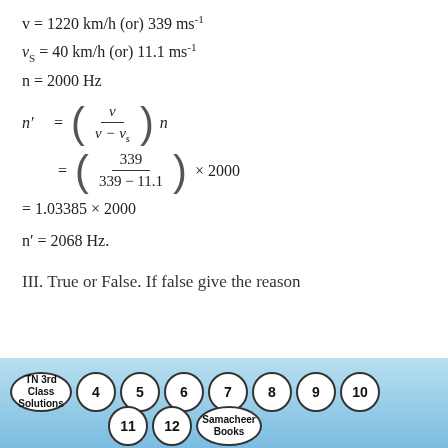v = 1220 km/h (or) 339 ms⁻¹
vS = 40 km/h (or) 11.1 ms⁻¹
n = 2000 Hz
= 1.03385 × 2000
n' = 2068 Hz.
III. True or False. If false give the reason
[Figure (other): Navigation circles row with TN 3rd Class Solutions, 4, 5, 6, 7, 8, 9, 10 and second row 11, 12, Samacheer Books on a blue gradient background]